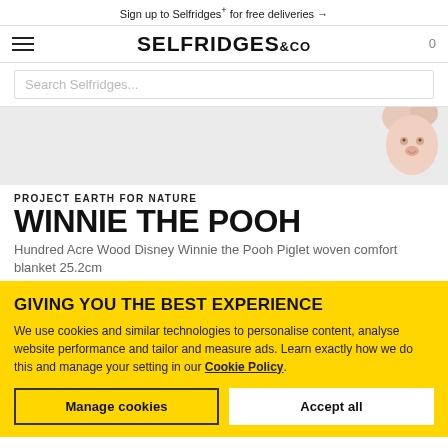Sign up to Selfridges+ for free deliveries →
SELFRIDGES &Co
Search Selfridges...
[Figure (photo): Product image area showing partial view of Winnie the Pooh Piglet plush toy on gray background]
PROJECT EARTH FOR NATURE
WINNIE THE POOH
Hundred Acre Wood Disney Winnie the Pooh Piglet woven comfort blanket 25.2cm
GIVING YOU THE BEST EXPERIENCE
We use cookies and similar technologies to personalise content, analyse website performance and tailor and measure ads. Learn exactly how we do this and manage your setting in our Cookie Policy.
Manage cookies
Accept all